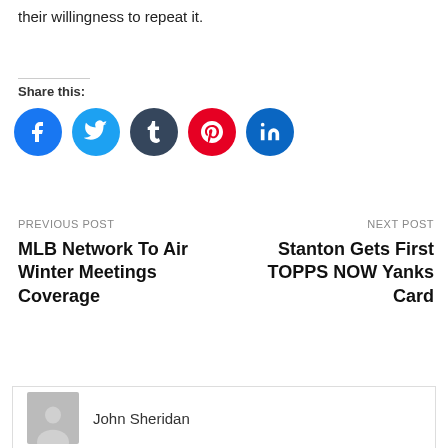their willingness to repeat it.
Share this:
[Figure (infographic): Row of five social media share buttons: Facebook (blue circle, f), Twitter (light blue circle, bird), Tumblr (dark blue circle, t), Pinterest (red circle, P), LinkedIn (teal circle, in)]
PREVIOUS POST
MLB Network To Air Winter Meetings Coverage
NEXT POST
Stanton Gets First TOPPS NOW Yanks Card
John Sheridan